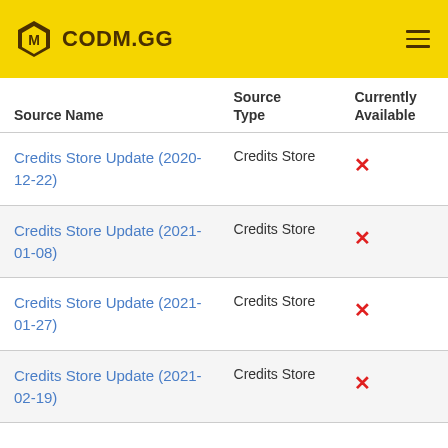CODM.GG
| Source Name | Source Type | Currently Available |
| --- | --- | --- |
| Credits Store Update (2020-12-22) | Credits Store | ✗ |
| Credits Store Update (2021-01-08) | Credits Store | ✗ |
| Credits Store Update (2021-01-27) | Credits Store | ✗ |
| Credits Store Update (2021-02-19) | Credits Store | ✗ |